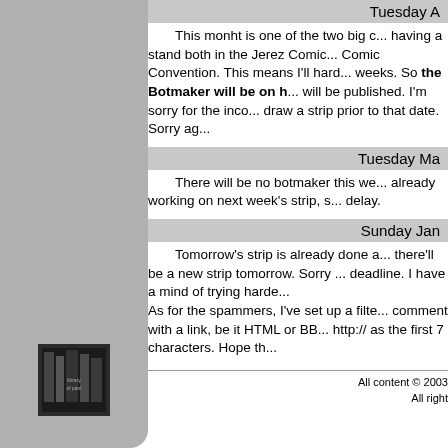Tuesday A...
This monht is one of the two big c... having a stand both in the Jerez Comic... Comic Convention. This means I'll haro... weeks. So the Botmaker will be on h... will be published. I'm sorry for the inco... draw a strip prior to that date. Sorry ag...
Tuesday Ma...
There will be no botmaker this we... already working on next week's strip, s... delay.
Sunday Jan...
Tomorrow's strip is already done a... there'll be a new strip tomorrow. Sorry ... deadline. I have a mind of trying harde...

As for the spammers, I've set up a filte... comment with a link, be it HTML or BB... http:// as the first 7 characters. Hope th...
All content © 2003... All right...
[Figure (photo): Library of Pain logo/thumbnail image in sidebar]